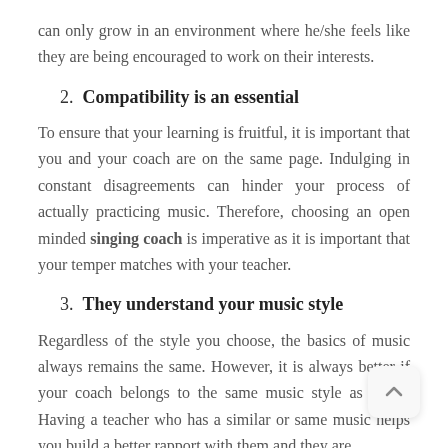can only grow in an environment where he/she feels like they are being encouraged to work on their interests.
2. Compatibility is an essential
To ensure that your learning is fruitful, it is important that you and your coach are on the same page. Indulging in constant disagreements can hinder your process of actually practicing music. Therefore, choosing an open minded singing coach is imperative as it is important that your temper matches with your teacher.
3. They understand your music style
Regardless of the style you choose, the basics of music always remains the same. However, it is always better if your coach belongs to the same music style as yours. Having a teacher who has a similar or same music helps you build a better rapport with them and they are